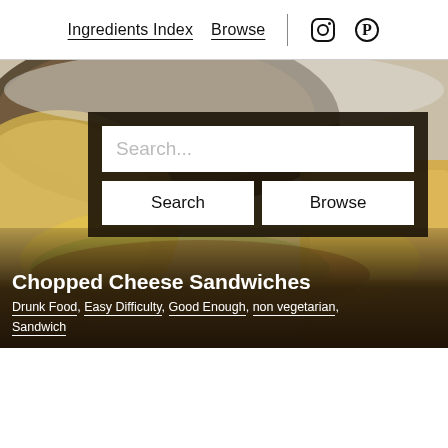Ingredients Index  Browse
[Figure (photo): Close-up photo of chopped cheese sandwiches with bread rolls, melted cheese, and vegetable filling visible, used as a hero background image for a food website.]
Chopped Cheese Sandwiches
Drunk Food, Easy Difficulty, Good Enough, non vegetarian, Sandwich